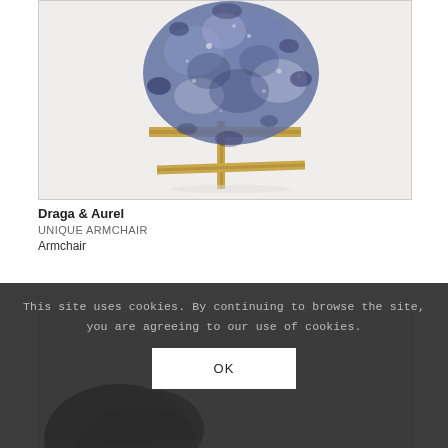[Figure (photo): A sculptural armchair by Draga & Aurel, shown on a light grey background. The seat is formed from a dense cluster of small protruding elements (beads or fabric fringe) in blue and white tones, mounted on a geometric golden/brass cross-shaped metal base.]
Draga & Aurel
UNIQUE ARMCHAIR
Armchair
[Figure (photo): Partial view of a second artwork or chair, showing a dark/black curved form against a light background, partially obscured by the cookie consent banner.]
This site uses cookies. By continuing to browse the site, you are agreeing to our use of cookies.
OK